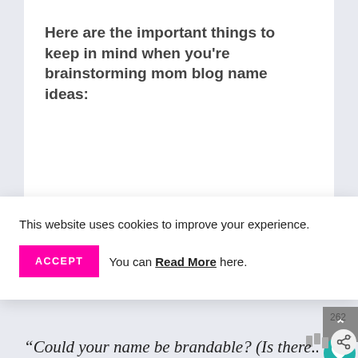Here are the important things to keep in mind when you're brainstorming mom blog name ideas:
This website uses cookies to improve your experience.
ACCEPT  You can Read More here.
262
Could your name be brandable? (Is there...